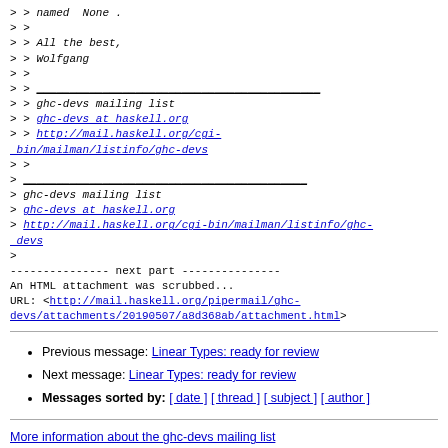> > named  None .
> >
> > All the best,
> > Wolfgang
> >
> > ___________________________________________
> > ghc-devs mailing list
> > ghc-devs at haskell.org
> > http://mail.haskell.org/cgi-bin/mailman/listinfo/ghc-devs
> >
> ___________________________________________
> ghc-devs mailing list
> ghc-devs at haskell.org
> http://mail.haskell.org/cgi-bin/mailman/listinfo/ghc-devs
>
--------------- next part ---------------
An HTML attachment was scrubbed...
URL: <http://mail.haskell.org/pipermail/ghc-devs/attachments/20190507/a8d368ab/attachment.html>
Previous message: Linear Types: ready for review
Next message: Linear Types: ready for review
Messages sorted by: [ date ] [ thread ] [ subject ] [ author ]
More information about the ghc-devs mailing list